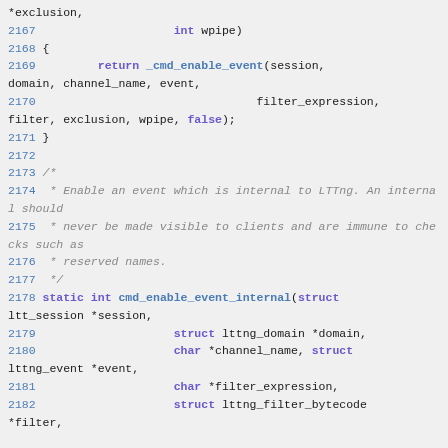Source code listing showing C function definitions, lines 2166-2182, including cmd_enable_event and cmd_enable_event_internal functions with their parameters and a comment block explaining internal events.